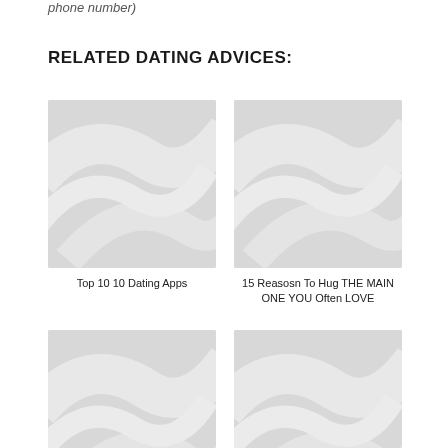phone number)
RELATED DATING ADVICES:
[Figure (illustration): Placeholder image with diagonal swoosh pattern, light gray]
Top 10 10 Dating Apps
[Figure (illustration): Placeholder image with diagonal swoosh pattern, light gray]
15 Reasosn To Hug THE MAIN ONE YOU Often LOVE
[Figure (illustration): Placeholder image with diagonal swoosh pattern, light gray]
[Figure (illustration): Placeholder image with diagonal swoosh pattern, light gray]